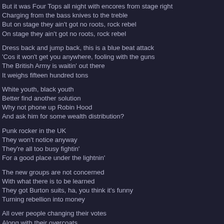But it was Four Tops all night with encores from stage right
Charging from the bass knives to the treble
But on stage they ain't got no roots, rock rebel
On stage they ain't got no roots, rock rebel
Dress back and jump back, this is a blue beat attack
'Cos it won't get you anywhere, fooling with the guns
The British Army is waitin' out there
It weighs fifteen hundred tons
White youth, black youth
Better find another solution
Why not phone up Robin Hood
And ask him for some wealth distribution?
Punk rocker in the UK
They won't notice anyway
They're all too busy fightin'
For a good place under the lightnin'
The new groups are not concerned
With what there is to be learned
They got Burton suits, ha, you think it's funny
Turning rebellion into money
All over people changing their votes
Along with their overcoats
If Adolf Hitler flew in today
They'd send a limousine anyway
I'm the all night drug prowling wolf
Who looks so sick in the sun
I'm the white man in the Palais
Just lookin' for fun
Only lookin' for fun
Oh, please this time just give me a nod
Well I'm only, lookin' for fun